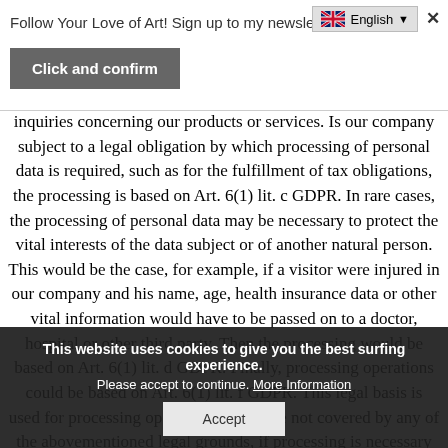Follow Your Love of Art! Sign up to my newsletter here.
Click and confirm
inquiries concerning our products or services. Is our company subject to a legal obligation by which processing of personal data is required, such as for the fulfillment of tax obligations, the processing is based on Art. 6(1) lit. c GDPR. In rare cases, the processing of personal data may be necessary to protect the vital interests of the data subject or of another natural person. This would be the case, for example, if a visitor were injured in our company and his name, age, health insurance data or other vital information would have to be passed on to a doctor, hospital or other third party. Then the processing would be based on Art. 6(1) lit. d GDPR. Finally, processing operations could be based on Art. 6(1) lit. f GDPR. This legal basis is used for processing operations which are not covered by any of the abovementioned legal grounds, if processing is necessary for the purposes of the legitimate
This website uses cookies to give you the best surfing experience. Please accept to continue. More Information
Accept